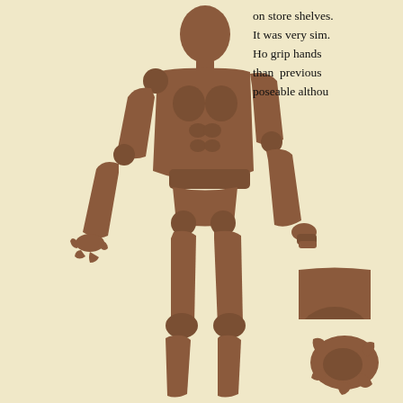[Figure (photo): A full-body action figure / articulated doll with brown skin-toned plastic, showing detailed musculature. The figure is posed standing upright. Left hand is open/claw-like, right hand forms a grip shape. Joints visible at shoulders, elbows, hips, knees. Background is pale cream/beige.]
on store shelves. It was very sim. Ho grip hands than previous poseable althou
[Figure (photo): Close-up detail of the action figure's knee joint area, showing articulation mechanism. Brown plastic, cream background.]
[Figure (photo): Close-up of the action figure's right hand in a grip position. Brown plastic, cream background.]